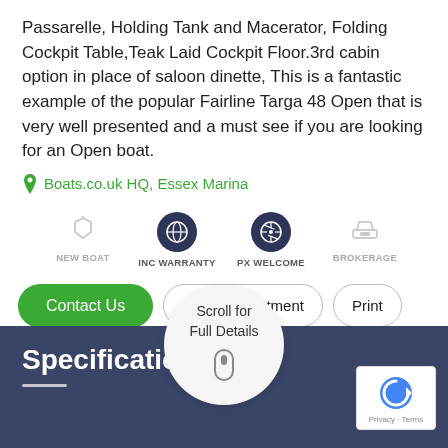Passarelle, Holding Tank and Macerator, Folding Cockpit Table,Teak Laid Cockpit Floor.3rd cabin option in place of saloon dinette, This is a fantastic example of the popular Fairline Targa 48 Open that is very well presented and a must see if you are looking for an Open boat.
Boats.co.uk HQ, Essex Marina
[Figure (infographic): Four icons in a row: NEW BOAT (tag icon, grey), INC WARRANTY (globe icon, dark blue), PX WELCOME (compass icon, dark blue), BROKERAGE (boat icon, grey)]
[Figure (screenshot): Three buttons: green 'Contact Us', outline 'Book Appointment', outline 'Print']
[Figure (screenshot): Dark navy pill button: 'Customise This Boat']
[Figure (infographic): Circular popup with 'Scroll for Full Details' text and mouse scroll icon]
Specification